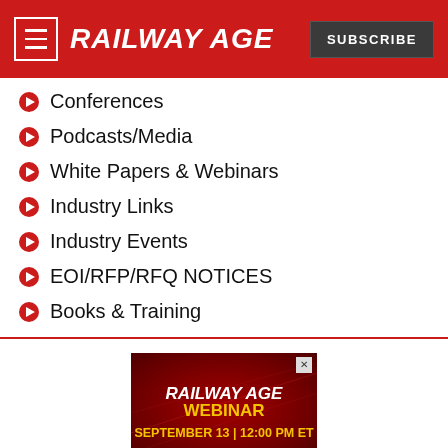RAILWAY AGE | SUBSCRIBE
Conferences
Podcasts/Media
White Papers & Webinars
Industry Links
Industry Events
EOI/RFP/RFQ NOTICES
Books & Training
[Figure (screenshot): Railway Age Webinar advertisement banner showing 'RAILWAY AGE WEBINAR SEPTEMBER 13 | 12:00 PM ET' text on a dark red background with decorative elements and a close button.]